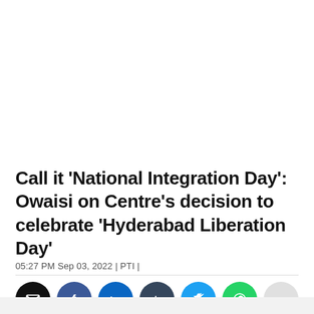Call it 'National Integration Day': Owaisi on Centre's decision to celebrate 'Hyderabad Liberation Day'
05:27 PM Sep 03, 2022 | PTI |
[Figure (infographic): Social sharing buttons: email (black), Facebook (blue), LinkedIn (blue), Tumblr (dark blue-grey), Twitter (light blue), WhatsApp (green), and one more grey button]